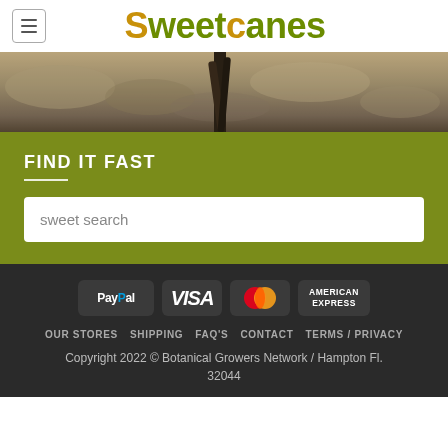Sweetcanes
[Figure (photo): Close-up photo of sugarcane plant base in rocky/sandy soil]
FIND IT FAST
sweet search
[Figure (other): Payment method icons: PayPal, VISA, MasterCard, American Express]
OUR STORES   SHIPPING   FAQ'S   CONTACT   TERMS / PRIVACY
Copyright 2022 © Botanical Growers Network / Hampton Fl. 32044